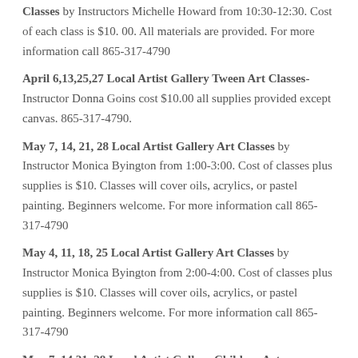Classes by Instructors Michelle Howard from 10:30-12:30. Cost of each class is $10. 00. All materials are provided. For more information call 865-317-4790
April 6,13,25,27 Local Artist Gallery Tween Art Classes- Instructor Donna Goins cost $10.00 all supplies provided except canvas. 865-317-4790.
May 7, 14, 21, 28 Local Artist Gallery Art Classes by Instructor Monica Byington from 1:00-3:00. Cost of classes plus supplies is $10. Classes will cover oils, acrylics, or pastel painting. Beginners welcome. For more information call 865-317-4790
May 4, 11, 18, 25 Local Artist Gallery Art Classes by Instructor Monica Byington from 2:00-4:00. Cost of classes plus supplies is $10. Classes will cover oils, acrylics, or pastel painting. Beginners welcome. For more information call 865-317-4790
May 7, 14,21, 28 Local Artist Gallery Children Art